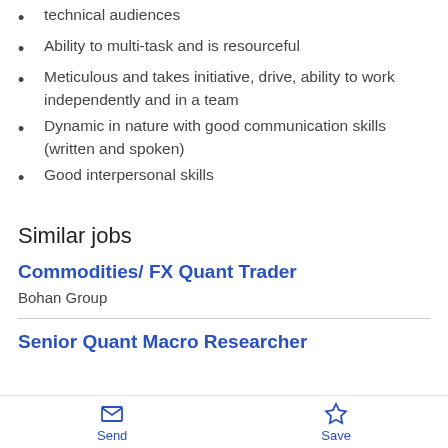technical audiences
Ability to multi-task and is resourceful
Meticulous and takes initiative, drive, ability to work independently and in a team
Dynamic in nature with good communication skills (written and spoken)
Good interpersonal skills
Similar jobs
Commodities/ FX Quant Trader
Bohan Group
Senior Quant Macro Researcher
Send  Save